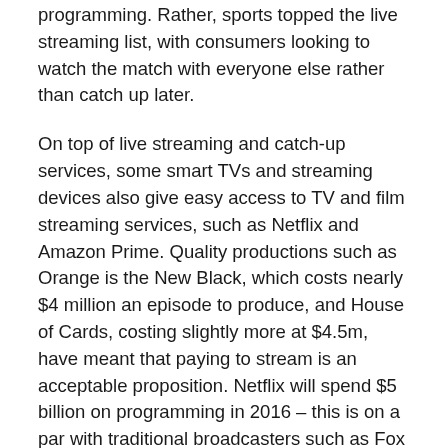programming. Rather, sports topped the live streaming list, with consumers looking to watch the match with everyone else rather than catch up later.
On top of live streaming and catch-up services, some smart TVs and streaming devices also give easy access to TV and film streaming services, such as Netflix and Amazon Prime. Quality productions such as Orange is the New Black, which costs nearly $4 million an episode to produce, and House of Cards, costing slightly more at $4.5m, have meant that paying to stream is an acceptable proposition. Netflix will spend $5 billion on programming in 2016 – this is on a par with traditional broadcasters such as Fox Networks, and higher than CBS.
Quality, and the ability to be more risqué, is paying off for the non-traditional content producers. They are new, credible and serious players, mixing up the ways...